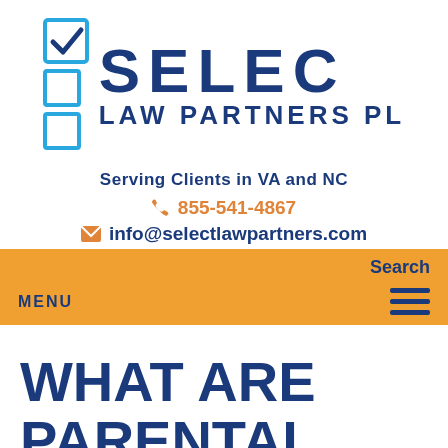[Figure (logo): Select Law Partners PL logo with checkbox icons and blue text]
Serving Clients in VA and NC
855-541-4867
info@selectlawpartners.com
Search
MENU
WHAT ARE PARENTAL RIGHTS